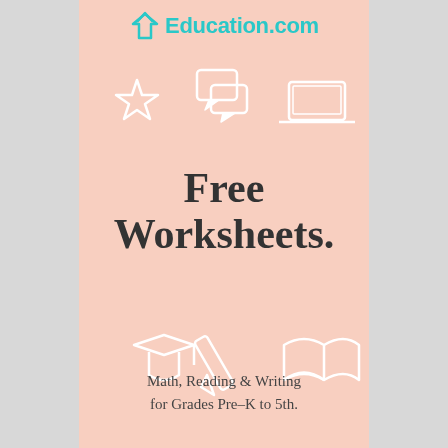[Figure (logo): Education.com logo with teal pencil/hand icon and teal text]
[Figure (illustration): Decorative white outline icons: star, speech bubbles, laptop (top section); graduation cap, pencil, open book (bottom section) on peach background]
Free Worksheets.
Math, Reading & Writing for Grades Pre-K to 5th.